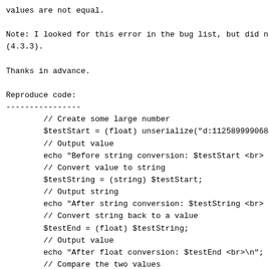values are not equal.
Note: I looked for this error in the bug list, but did not find it
(4.3.3).
Thanks in advance.
Reproduce code:
----------------
// Create some large number
        $testStart = (float) unserialize("d:112589999068
        // Output value
        echo "Before string conversion: $testStart <br>
        // Convert value to string
        $testString = (string) $testStart;
        // Output string
        echo "After string conversion: $testString <br>
        // Convert string back to a value
        $testEnd = (float) $testString;
        // Output value
        echo "After float conversion: $testEnd <br>\n";
        // Compare the two values
        if( $testStart == $testEnd ) {
                echo "<br>\nThe two values are equal.<b
        } else {